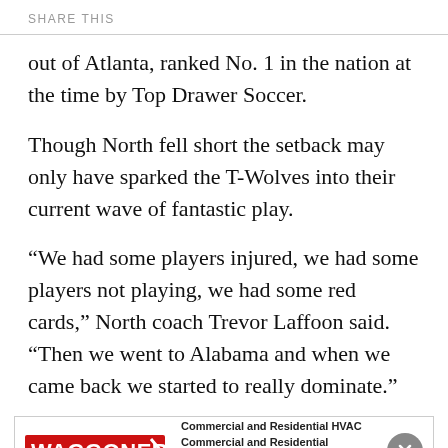SHARE THIS
out of Atlanta, ranked No. 1 in the nation at the time by Top Drawer Soccer.
Though North fell short the setback may only have sparked the T-Wolves into their current wave of fantastic play.
“We had some players injured, we had some players not playing, we had some red cards,” North coach Trevor Laffoon said. “Then we went to Alabama and when we came back we started to really dominate.”
[Figure (other): Waggoners advertisement banner: Commercial and Residential HVAC, Commercial and Residential Plumbing, Commercial Electric]